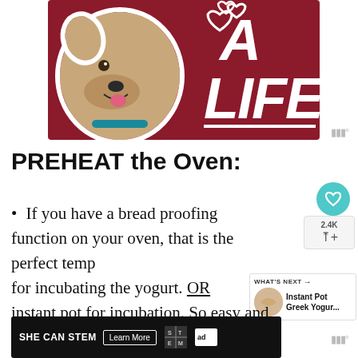[Figure (illustration): Advertisement banner with dark red/maroon background showing a dog (pit bull type, tan/white) with white outline cutout on left side, white heart outlines floating above, and bold white italic text 'A LIFE' on the right with a white underline.]
PREHEAT the Oven:
If you have a bread proofing function on your oven, that is the perfect temp for incubating the yogurt. OR instant pot for incubation. So easy and
[Figure (advertisement): Black advertisement banner reading SHE CAN STEM with Learn More button, STEM grid logo, and Ad Council logo.]